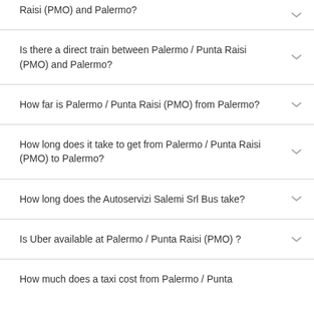Raisi (PMO) and Palermo?
Is there a direct train between Palermo / Punta Raisi (PMO) and Palermo?
How far is Palermo / Punta Raisi (PMO) from Palermo?
How long does it take to get from Palermo / Punta Raisi (PMO) to Palermo?
How long does the Autoservizi Salemi Srl Bus take?
Is Uber available at Palermo / Punta Raisi (PMO) ?
How much does a taxi cost from Palermo / Punta